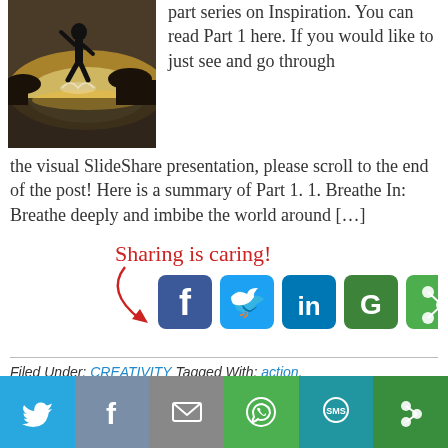[Figure (photo): Person jumping near water with sunlight in background]
part series on Inspiration. You can read Part 1 here. If you would like to just see and go through the visual SlideShare presentation, please scroll to the end of the post! Here is a summary of Part 1. 1. Breathe In: Breathe deeply and imbibe the world around [...]
[Figure (infographic): Sharing is caring! text with arrow and social media share buttons (Facebook, Twitter, LinkedIn, Google+, ShareThis)]
Filed Under: CREATIVITY Tagged With: action, creativity, inspiration, life
[Figure (infographic): Bottom sharing bar with Twitter, Facebook, Email, WhatsApp, SMS, and More buttons]